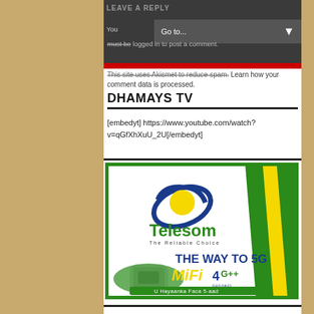LEAVE A REPLY
You must be logged in to post a comment.
This site uses Akismet to reduce spam. Learn how your comment data is processed.
DHAMAYS TV
[embedyt] https://www.youtube.com/watch?v=qGfXhXuU_2U[/embedyt]
[Figure (logo): Telesom advertisement banner. Green bordered ad with Telesom logo (blue orbit with yellow sphere), tagline 'The Reliable Choice', text 'THE WAY TO 5G', 'MiFi' in yellow, '4G++ Connect' logo, and 'U Hayaanka Faca 5-aad' text at bottom.]